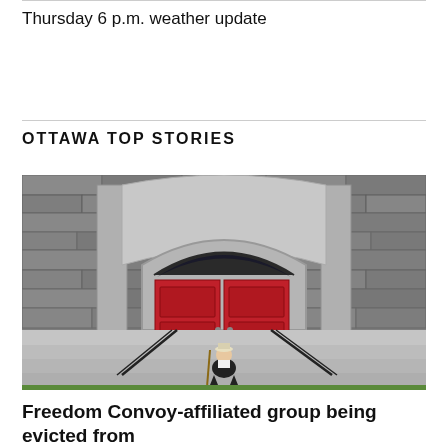Thursday 6 p.m. weather update
OTTAWA TOP STORIES
[Figure (photo): A person crouching on the steps of a stone building with a prominent red arched double door and stone columns. The building appears to be a church. The person is wearing a hat and holding a cane or stick.]
Freedom Convoy-affiliated group being evicted from